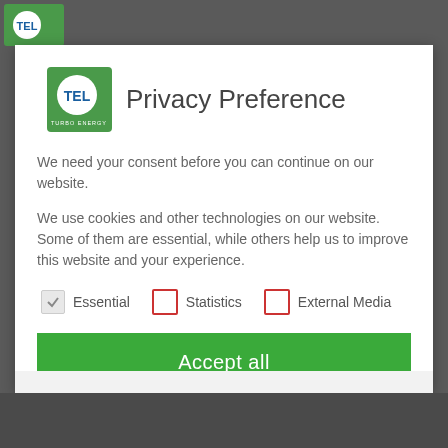[Figure (logo): TEL Turbo Energy logo - green square with white circle containing TEL in blue text]
Privacy Preference
We need your consent before you can continue on our website.
We use cookies and other technologies on our website. Some of them are essential, while others help us to improve this website and your experience.
Essential  Statistics  External Media
Accept all